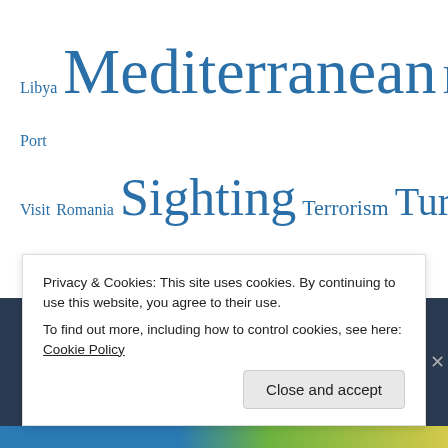Libya Mediterranean NATO NEO Personal Piracy Port Visit Romania Sighting Terrorism Turkey Turkish Coast Guard Turkish Navy Ukraine Uncategorized
Blog Stats
2,632,868 hits
Privacy & Cookies: This site uses cookies. By continuing to use this website, you agree to their use. To find out more, including how to control cookies, see here: Cookie Policy